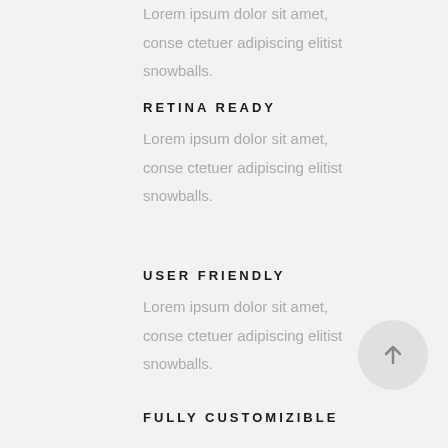Lorem ipsum dolor sit amet, conse ctetuer adipiscing elitist snowballs.
RETINA READY
Lorem ipsum dolor sit amet, conse ctetuer adipiscing elitist snowballs.
USER FRIENDLY
Lorem ipsum dolor sit amet, conse ctetuer adipiscing elitist snowballs.
FULLY CUSTOMIZIBLE